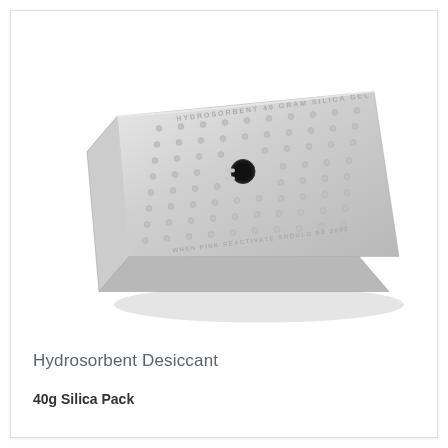[Figure (photo): A silver/chrome rectangular metal desiccant canister with rounded corners, covered in small embossed dots (perforations) and embossed text reading 'HYDROSORBENT 40 GRAM SILICA GEL' and 'WHEN PINK REACTIVATE SHOULD BE 200F', with a small black humidity indicator dot in the center. The canister is photographed at an angle on a white background.]
Hydrosorbent Desiccant
40g Silica Pack